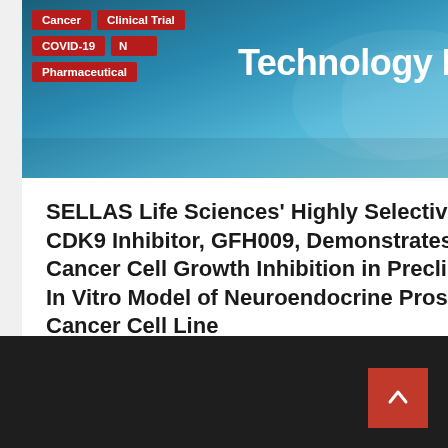Technology Net
[Figure (photo): Medical/laboratory photo with blue tones showing gloved hands, with category tags: Cancer, Clinical Trial, COVID-19, News, Pharmaceutical overlaid in dark red]
SELLAS Life Sciences' Highly Selective CDK9 Inhibitor, GFH009, Demonstrates Cancer Cell Growth Inhibition in Preclinical In Vitro Model of Neuroendocrine Prostate Cancer Cell Line
11 hours ago  Staff